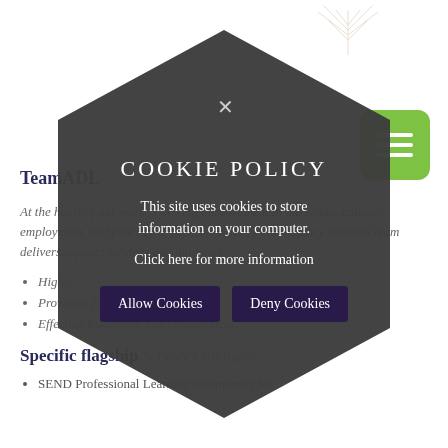TeamADL
At the heart of our work is driving improvement in the vision, culture, employment, and practice of inclusion. ADL's multiagency national team delivers support services and guidance.
High...
Provision for the most vulnerable
Effective leadership and management
Specific flagship services include:
SEND Professional Learning Community for
[Figure (other): Cookie policy modal overlay in a dark hexagonal shape with title 'COOKIE POLICY', description text, a 'Click here for more information' link, and two buttons: 'Allow Cookies' and 'Deny Cookies'. There is also a close (×) button at the top.]
[Figure (other): Green rounded-square hamburger menu button with three white horizontal bars, positioned top-right.]